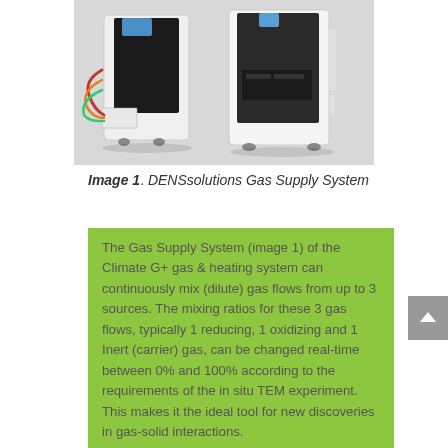[Figure (photo): Photo of DENSsolutions Gas Supply System — two cabinet-style scientific instrument units, one white and one dark/black, on wheels, with tubing visible on the left unit.]
Image 1. DENSsolutions Gas Supply System
The Gas Supply System (image 1) of the Climate G+ gas & heating system can continuously mix (dilute) gas flows from up to 3 sources. The mixing ratios for these 3 gas flows, typically 1 reducing, 1 oxidizing and 1 Inert (carrier) gas, can be changed real-time between 0% and 100% according to the requirements of the in situ TEM experiment. This makes it the ideal tool for new discoveries in gas-solid interactions.